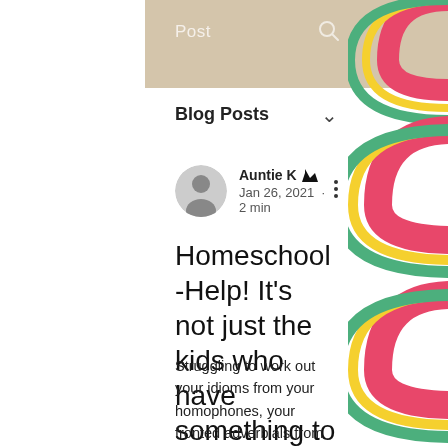Post
Blog Posts
Auntie K 👑 Jan 26, 2021 · 2 min
Homeschool -Help! It's not just the kids who have something to learn
Struggling to work out your idioms from your homophones, your fronted adverbials from your conjunctions or perhaps you are not sure how to solve linear equations?
[Figure (illustration): Decorative rainbow illustrations on the right side of the page, colorful pink, yellow, and green rainbows on white background]